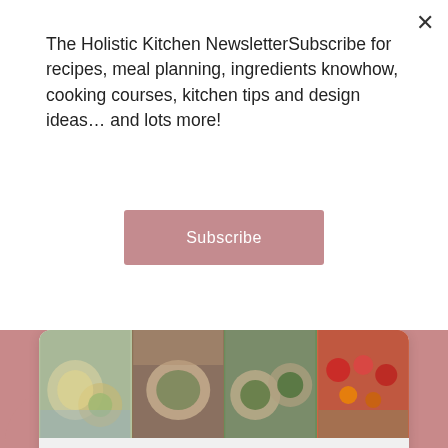The Holistic Kitchen NewsletterSubscribe for recipes, meal planning, ingredients knowhow, cooking courses, kitchen tips and design ideas… and lots more!
Subscribe
[Figure (screenshot): Pinterest widget showing four food photos and a Follow On Pinterest button]
[Figure (other): Pink/rose background section with back-to-top chevron button and decorative beige section at bottom]